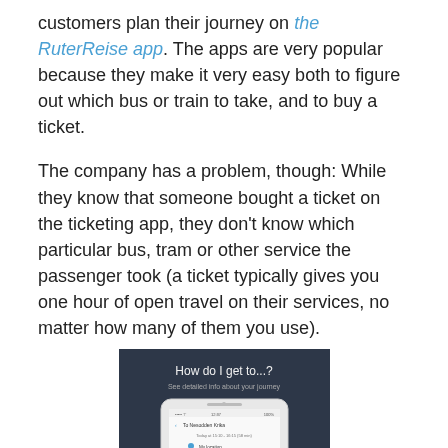customers plan their journey on the RuterReise app. The apps are very popular because they make it very easy both to figure out which bus or train to take, and to buy a ticket.
The company has a problem, though: While they know that someone bought a ticket on the ticketing app, they don't know which particular bus, tram or other service the passenger took (a ticket typically gives you one hour of open travel on their services, no matter how many of them you use).
[Figure (screenshot): Screenshot of the RuterReise app showing a phone with the text 'How do I get to...?' and 'See detailed info about your journey', with a map route interface displayed.]